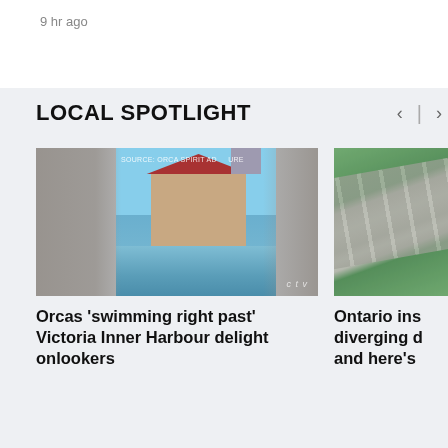9 hr ago
LOCAL SPOTLIGHT
[Figure (photo): Video thumbnail showing orcas swimming in Victoria Inner Harbour with waterfront buildings and reflective water. Source: Orca Spirit Adventures. CTV logo visible at bottom right. Left and right edges blurred.]
[Figure (photo): Aerial rendering of a diverging diamond interchange or highway infrastructure project in Ontario, showing multi-lane road with green spaces and vehicles.]
Orcas 'swimming right past' Victoria Inner Harbour delight onlookers
Ontario ins diverging d and here's